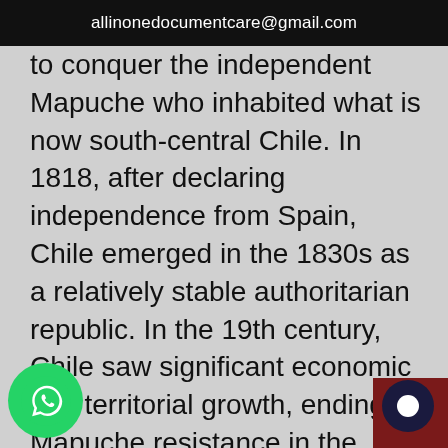allinonedocumentcare@gmail.com
to conquer the independent Mapuche who inhabited what is now south-central Chile. In 1818, after declaring independence from Spain, Chile emerged in the 1830s as a relatively stable authoritarian republic. In the 19th century, Chile saw significant economic and territorial growth, ending Mapuche resistance in the 1880s and gaining its current northern territory in the War of the Pacific (1879–83) after defeating Peru and Bolivia. In the 20th century up to the 1970s Chile saw a process of democratization, rapid population growth and urbanization and increasing reliance on exports from copper [min]ing for its economy. During the 1960s and [1970]s, the country experienced severe left-r[ight] political polarization and turmoil. This